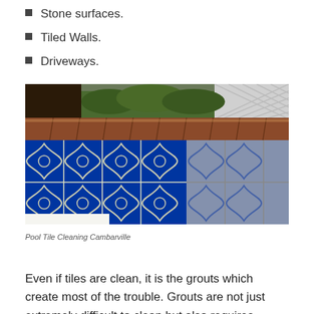Stone surfaces.
Tiled Walls.
Driveways.
[Figure (photo): Photo of a pool wall with decorative blue tiles featuring geometric patterns and a terracotta/brick coping along the top. The right side shows white calcium/mineral deposits on the tiles.]
Pool Tile Cleaning Cambarville
Even if tiles are clean, it is the grouts which create most of the trouble. Grouts are not just extremely difficult to clean but also requires patience. It can